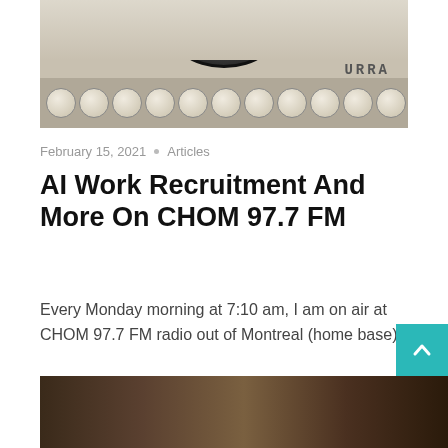[Figure (photo): Close-up photograph of a vintage typewriter showing the type wheel mechanism at top and typewriter keys at the bottom, with a brand name visible on the body]
February 15, 2021 • Articles
AI Work Recruitment And More On CHOM 97.7 FM
Every Monday morning at 7:10 am, I am on air at CHOM 97.7 FM radio out of Montreal (home base). It's
Continue reading »
[Figure (photo): Partial view of another photograph at the bottom of the page, showing a dark background]